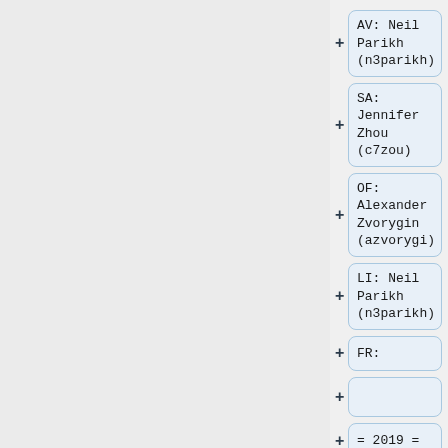AV: Neil Parikh (n3parikh)
SA: Jennifer Zhou (c7zou)
OF: Alexander Zvorygin (azvorygi)
LI: Neil Parikh (n3parikh)
FR:
= 2019 =